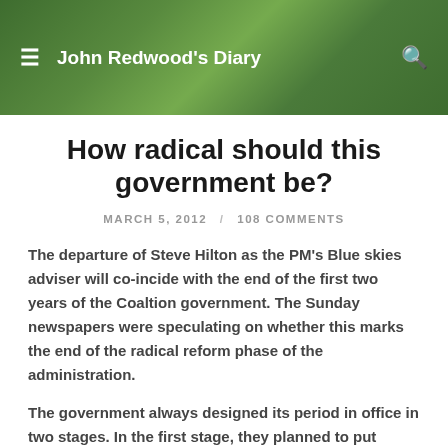John Redwood's Diary
How radical should this government be?
MARCH 5, 2012 / 108 COMMENTS
The departure of Steve Hilton as the PM's Blue skies adviser will co-incide with the end of the first two years of the Coaltion government. The Sunday newspapers were speculating on whether this marks the end of the radical reform phase of the administration.
The government always designed its period in office in two stages. In the first stage, they planned to put through